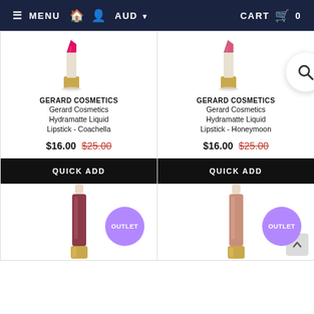MENU | Home | Account | AUD | CART 0
GERARD COSMETICS
Gerard Cosmetics Hydramatte Liquid Lipstick - Coachella
$16.00  $25.00
QUICK ADD
GERARD COSMETICS
Gerard Cosmetics Hydramatte Liquid Lipstick - Honeymoon
$16.00  $25.00
QUICK ADD
[Figure (photo): Gerard Cosmetics lipstick product - Coachella shade (pink/magenta)]
[Figure (photo): Gerard Cosmetics lipstick product - Honeymoon shade (pink/mauve)]
[Figure (photo): Gerard Cosmetics lipgloss product - outlet item (dark rose)]
[Figure (photo): Gerard Cosmetics lipgloss product - outlet item (nude pink)]